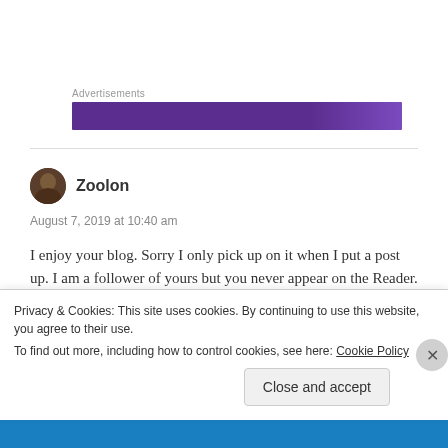Advertisements
[Figure (other): Purple advertisement banner]
Zoolon
August 7, 2019 at 10:40 am
I enjoy your blog. Sorry I only pick up on it when I put a post up. I am a follower of yours but you never appear on the Reader. I seem to have a few issues like this. WP need to
Privacy & Cookies: This site uses cookies. By continuing to use this website, you agree to their use.
To find out more, including how to control cookies, see here: Cookie Policy
Close and accept